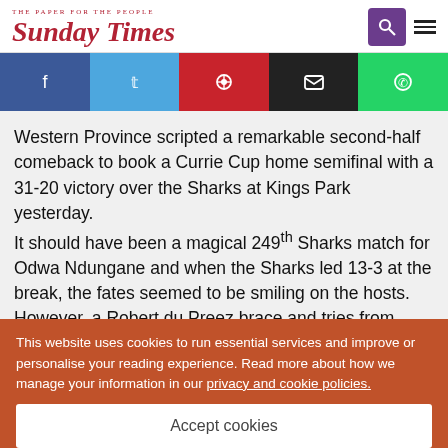The Paper For The People — Sunday Times
[Figure (infographic): Social share bar with Facebook, Twitter, Pinterest, Email, and WhatsApp buttons]
Western Province scripted a remarkable second-half comeback to book a Currie Cup home semifinal with a 31-20 victory over the Sharks at Kings Park yesterday. It should have been a magical 249th Sharks match for Odwa Ndungane and when the Sharks led 13-3 at the break, the fates seemed to be smiling on the hosts. However, a Robert du Preez brace and tries from Dewaldt Duvenage and JD Schickerling cut the hosts down to size and condemned them to a first home loss. With their bonus-point win, Province moved from 32 to 37
This website uses cookies to run essential services and improve or personalise your reading experience. Read more about how we manage your information in our privacy and cookie policies.
Accept cookies